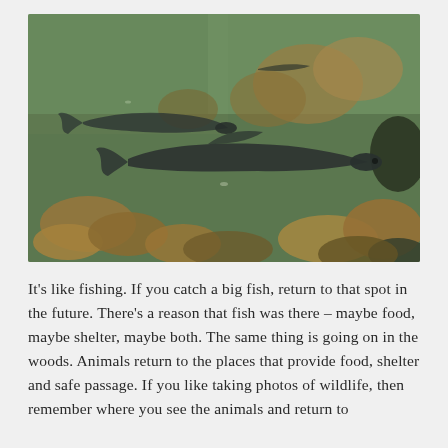[Figure (photo): Underwater/shallow water photograph showing fish (appears to be trout or similar species) swimming over rocky riverbed with greenish-brown water and submerged rocks of orange, brown and grey hues visible through the clear water.]
It's like fishing. If you catch a big fish, return to that spot in the future. There's a reason that fish was there – maybe food, maybe shelter, maybe both. The same thing is going on in the woods. Animals return to the places that provide food, shelter and safe passage. If you like taking photos of wildlife, then remember where you see the animals and return to